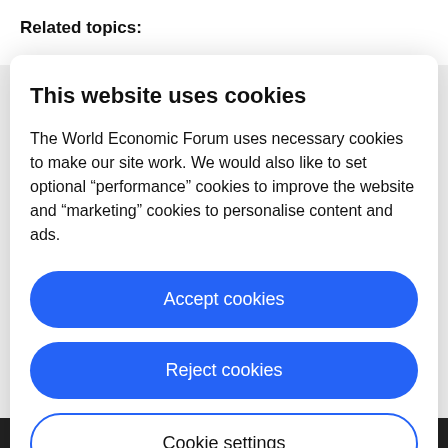Related topics:
This website uses cookies
The World Economic Forum uses necessary cookies to make our site work. We would also like to set optional “performance” cookies to improve the website and “marketing” cookies to personalise content and ads.
Accept cookies
Reject cookies
Cookie settings